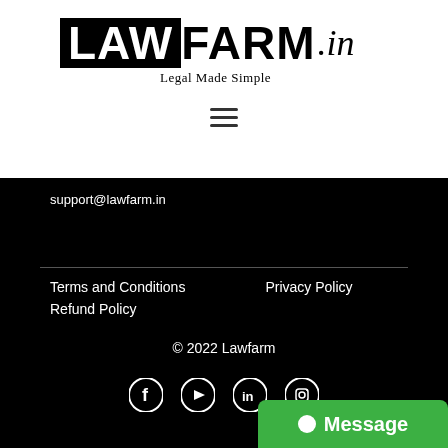[Figure (logo): LAWFARM.in logo with tagline 'Legal Made Simple']
[Figure (other): Hamburger menu icon (three horizontal lines)]
support@lawfarm.in
Terms and Conditions
Privacy Policy
Refund Policy
© 2022 Lawfarm
[Figure (other): Social media icons: Facebook, YouTube, LinkedIn, Instagram]
Message